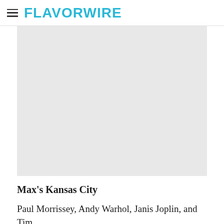FLAVORWIRE
[Figure (photo): Large light gray placeholder image area]
Max's Kansas City
Paul Morrissey, Andy Warhol, Janis Joplin, and Tim